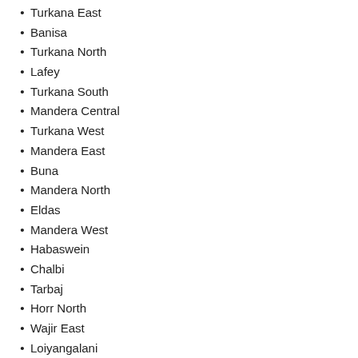Turkana East
Banisa
Turkana North
Lafey
Turkana South
Mandera Central
Turkana West
Mandera East
Buna
Mandera North
Eldas
Mandera West
Habaswein
Chalbi
Tarbaj
Horr North
Wajir East
Loiyangalani
Wajir North